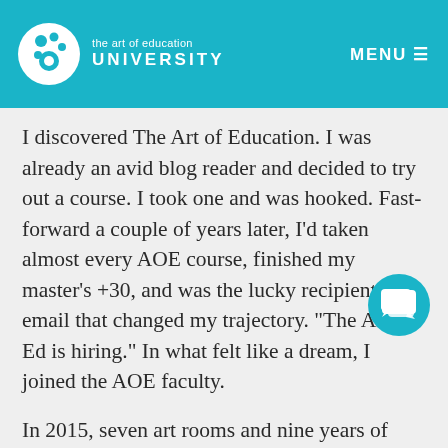the art of education UNIVERSITY
I discovered The Art of Education. I was already an avid blog reader and decided to try out a course. I took one and was hooked. Fast-forward a couple of years later, I'd taken almost every AOE course, finished my master's +30, and was the lucky recipient of an email that changed my trajectory. “The Art of Ed is hiring.” In what felt like a dream, I joined the AOE faculty.
In 2015, seven art rooms and nine years of teaching later, I packed up my textbooks and